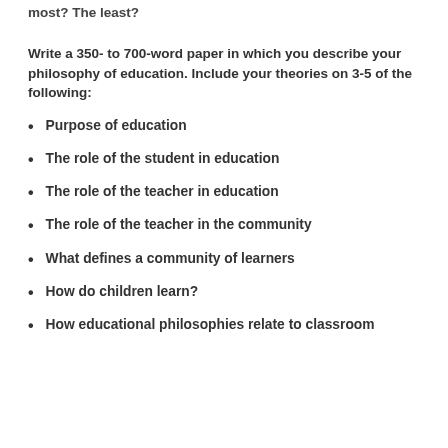most? The least?
Write a 350- to 700-word paper in which you describe your philosophy of education. Include your theories on 3-5 of the following:
Purpose of education
The role of the student in education
The role of the teacher in education
The role of the teacher in the community
What defines a community of learners
How do children learn?
How educational philosophies relate to classroom